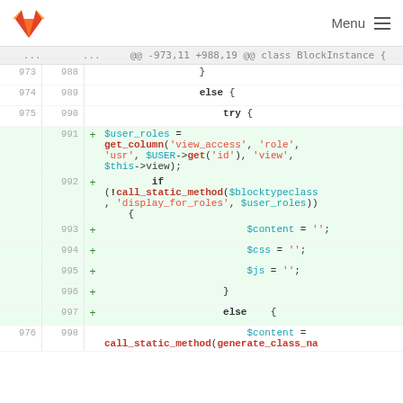GitLab logo | Menu
[Figure (screenshot): GitLab code diff view showing added lines 991-997 with PHP code for $user_roles, get_column, call_static_method, $content, $css, $js, else block, and context lines 973-976, 988-998.]